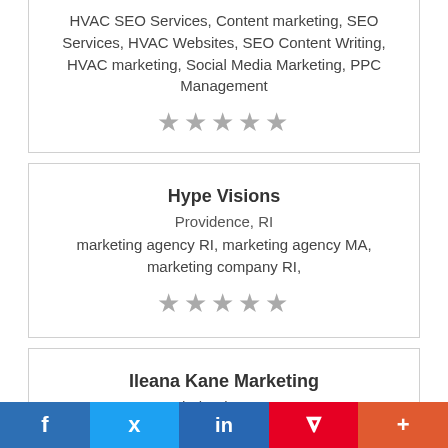HVAC SEO Services, Content marketing, SEO Services, HVAC Websites, SEO Content Writing, HVAC marketing, Social Media Marketing, PPC Management
★★★★★
Hype Visions
Providence, RI
marketing agency RI, marketing agency MA, marketing company RI,
★★★★★
Ileana Kane Marketing
Chula Vista, CA
Marketing
★★★★★